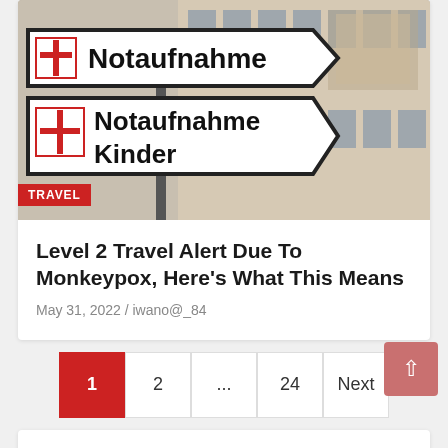[Figure (photo): Photo of German hospital emergency signs: two arrow-shaped directional signs reading 'Notaufnahme' (Emergency) and 'Notaufnahme Kinder' (Children's Emergency), each with a red cross symbol, mounted on a pole in front of a beige building with many windows. A red 'TRAVEL' badge overlays the bottom-left of the image.]
Level 2 Travel Alert Due To Monkeypox, Here's What This Means
May 31, 2022 / iwano@_84